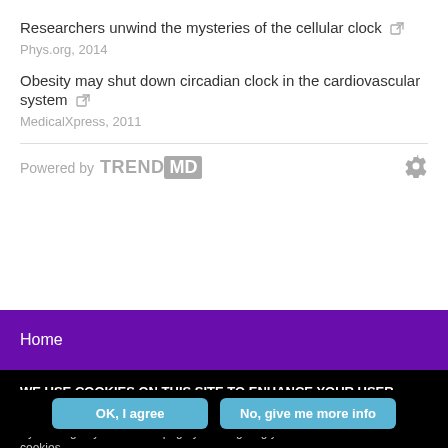Researchers unwind the mysteries of the cellular clock
Phys.org, 2014
Obesity may shut down circadian clock in the cardiovascular system
MedicalXpress, 2011
Powered by TREND MD
Home
WE USE COOKIES ON THIS SITE TO ENHANCE YOUR USER EXPERIENCE
By clicking any link on this page you are giving your consent for us to set cookies.
OK, I agree
No, give me more info